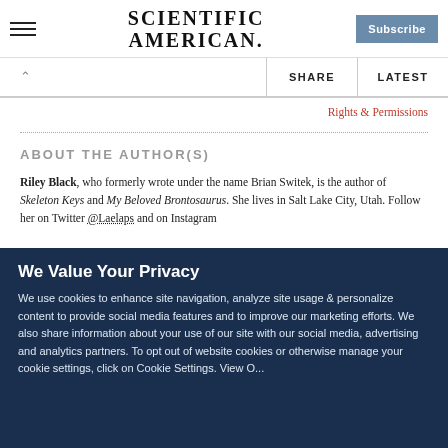Scientific American
Rights & Permissions
ABOUT THE AUTHOR(S)
Riley Black, who formerly wrote under the name Brian Switek, is the author of Skeleton Keys and My Beloved Brontosaurus. She lives in Salt Lake City, Utah. Follow her on Twitter @Laelaps and on Instagram
We Value Your Privacy
We use cookies to enhance site navigation, analyze site usage & personalize content to provide social media features and to improve our marketing efforts. We also share information about your use of our site with our social media, advertising and analytics partners. To opt out of website cookies or otherwise manage your cookie settings, click on Cookie Settings. View O...